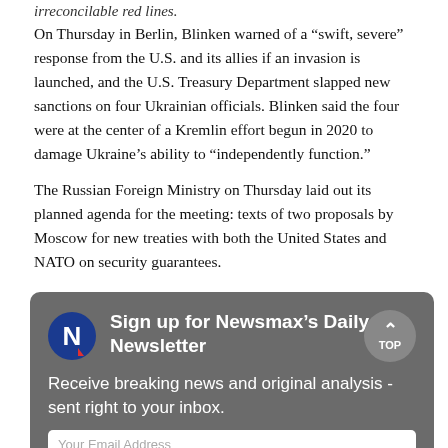irreconcilable red lines.
On Thursday in Berlin, Blinken warned of a “swift, severe” response from the U.S. and its allies if an invasion is launched, and the U.S. Treasury Department slapped new sanctions on four Ukrainian officials. Blinken said the four were at the center of a Kremlin effort begun in 2020 to damage Ukraine’s ability to “independently function.”
The Russian Foreign Ministry on Thursday laid out its planned agenda for the meeting: texts of two proposals by Moscow for new treaties with both the United States and NATO on security guarantees.
[Figure (infographic): Newsmax newsletter signup box with dark gray background. Contains Newsmax 'N' logo, bold white text 'Sign up for Newsmax’s Daily Newsletter', white body text 'Receive breaking news and original analysis - sent right to your inbox.', a TOP button, and an email address input field at the bottom.]